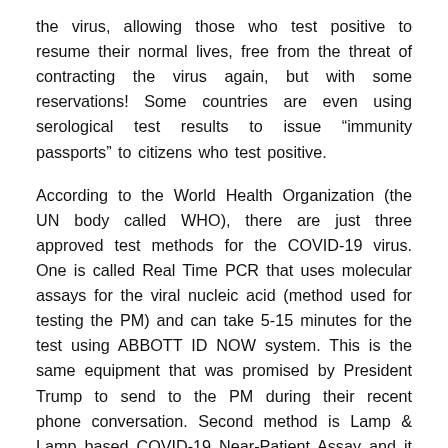the virus, allowing those who test positive to resume their normal lives, free from the threat of contracting the virus again, but with some reservations! Some countries are even using serological test results to issue “immunity passports” to citizens who test positive.
According to the World Health Organization (the UN body called WHO), there are just three approved test methods for the COVID-19 virus. One is called Real Time PCR that uses molecular assays for the viral nucleic acid (method used for testing the PM) and can take 5-15 minutes for the test using ABBOTT ID NOW system. This is the same equipment that was promised by President Trump to send to the PM during their recent phone conversation. Second method is Lamp & Lamp based COVID-19 Near-Patient Assay and it takes about an hour for the test and is similar to PCR test but not as reliable. The third is called ELISA & Fluorescence Detection